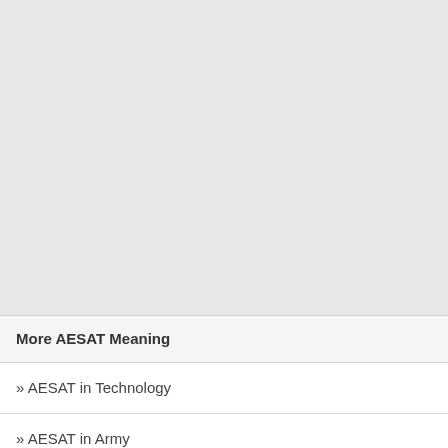More AESAT Meaning
» AESAT in Technology
» AESAT in Army
» AESAT in Marine